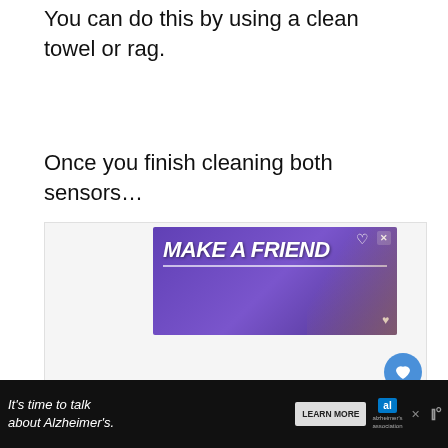You can do this by using a clean towel or rag.
Once you finish cleaning both sensors…
[Figure (screenshot): Advertisement banner 'MAKE A FRIEND' with purple background and dog image, with social interaction buttons (heart/like button showing count of 1, share button), and a 'WHAT'S NEXT' recommendation panel showing '(9 Fixes) Hulu Not Working...']
[Figure (screenshot): Bottom advertisement bar on black background: 'It's time to talk about Alzheimer's.' with LEARN MORE button and Alzheimer's association logo]